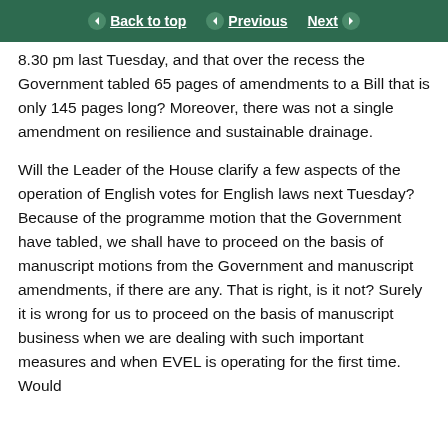Back to top | Previous | Next
8.30 pm last Tuesday, and that over the recess the Government tabled 65 pages of amendments to a Bill that is only 145 pages long? Moreover, there was not a single amendment on resilience and sustainable drainage.
Will the Leader of the House clarify a few aspects of the operation of English votes for English laws next Tuesday? Because of the programme motion that the Government have tabled, we shall have to proceed on the basis of manuscript motions from the Government and manuscript amendments, if there are any. That is right, is it not? Surely it is wrong for us to proceed on the basis of manuscript business when we are dealing with such important measures and when EVEL is operating for the first time. Would